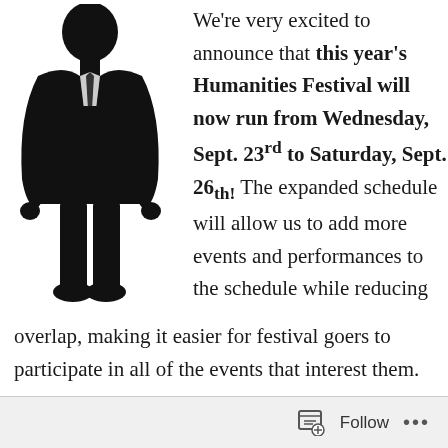[Figure (illustration): Black silhouette of a person in a suit standing upright, facing forward]
We're very excited to announce that this year's Humanities Festival will now run from Wednesday, Sept. 23rd to Saturday, Sept. 26th! The expanded schedule will allow us to add more events and performances to the schedule while reducing overlap, making it easier for festival goers to participate in all of the events that interest them.
Follow ...